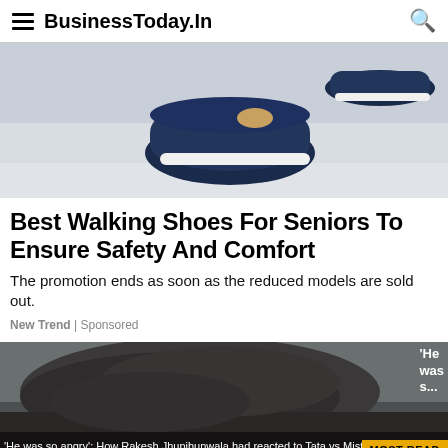BusinessToday.In
[Figure (photo): Close-up photo of a person's feet wearing navy blue walking shoes on a light-colored floor.]
Best Walking Shoes For Seniors To Ensure Safety And Comfort
The promotion ends as soon as the reduced models are sold out.
New Trend | Sponsored
[Figure (photo): Close-up photo of a dark-colored animal (dog or cat) lying on a wooden floor, in black and white tones.]
'He was so angry': How Rakesh Jhunjhunwala had reacted to Tata vs Mistry saga